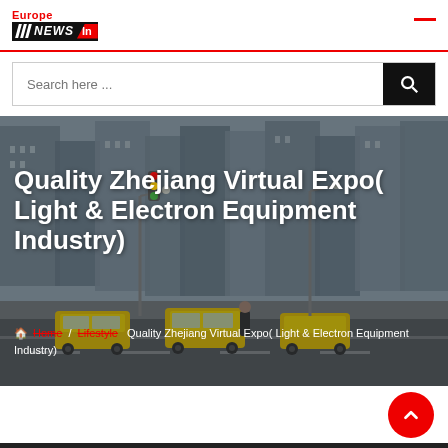Europe NEWS In
Search here ...
[Figure (photo): City street scene with yellow taxis, skyscrapers, and pedestrians — used as hero background image]
Quality Zhejiang Virtual Expo( Light & Electron Equipment Industry)
Home / Lifestyle  Quality Zhejiang Virtual Expo( Light & Electron Equipment Industry)